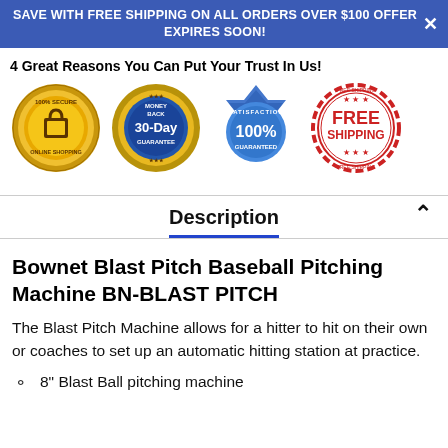SAVE WITH FREE SHIPPING ON ALL ORDERS OVER $100 OFFER EXPIRES SOON!
4 Great Reasons You Can Put Your Trust In Us!
[Figure (illustration): Four trust badges: 100% Secure Online Shopping (gold), Money Back 30-Day Guarantee (gold/blue), Satisfaction 100% Guaranteed (blue), Free Shipping (red stamp)]
Description
Bownet Blast Pitch Baseball Pitching Machine BN-BLAST PITCH
The Blast Pitch Machine allows for a hitter to hit on their own or coaches to set up an automatic hitting station at practice.
8" Blast Ball pitching machine